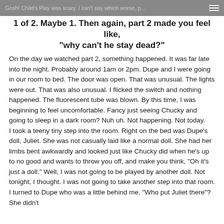Gosh! Child's Play was scary. I can't say which worse, p…
1 of 2. Maybe 1. Then again, part 2 made you feel like, "why can't he stay dead?"
On the day we watched part 2, something happened. It was far late into the night. Probably around 1am or 2pm. Dupe and I were going in our room to bed. The door was open. That was unusual. The lights were out. That was also unusual. I flicked the switch and nothing happened. The fluorescent tube was blown. By this time, I was beginning to feel uncomfortable. Fancy just seeing Chucky and going to sleep in a dark room? Nuh uh. Not happening. Not today.
I took a teeny tiny step into the room. Right on the bed was Dupe's doll, Juliet. She was not casually laid like a normal doll. She had her limbs bent awkwardly and looked just like Chucky did when he's up to no good and wants to throw you off, and make you think, "Oh it's just a doll." Well, I was not going to be played by another doll. Not tonight, I thought. I was not going to take another step into that room. I turned to Dupe who was a little behind me. "Who put Juliet there"? She didn't